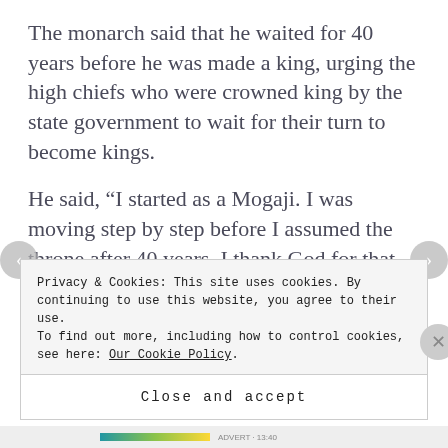The monarch said that he waited for 40 years before he was made a king, urging the high chiefs who were crowned king by the state government to wait for their turn to become kings.
He said, “I started as a Mogaji. I was moving step by step before I assumed the throne after 40 years. I thank God for that. We must all love one another.
Privacy & Cookies: This site uses cookies. By continuing to use this website, you agree to their use.
To find out more, including how to control cookies, see here: Our Cookie Policy.
Close and accept